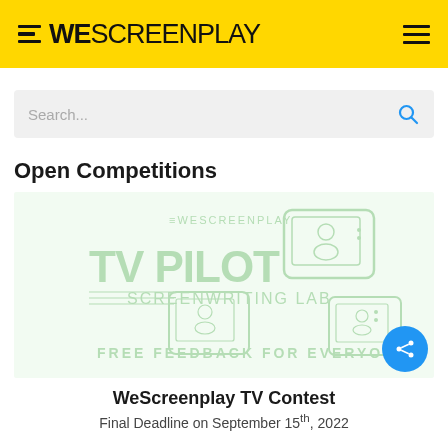WESCREENPLAY
Search...
Open Competitions
[Figure (illustration): WeScreenplay TV Pilot Screenwriting Lab promotional image with retro televisions and text 'FREE FEEDBACK FOR EVERYONE' in light green tones]
WeScreenplay TV Contest
Final Deadline on September 15th, 2022